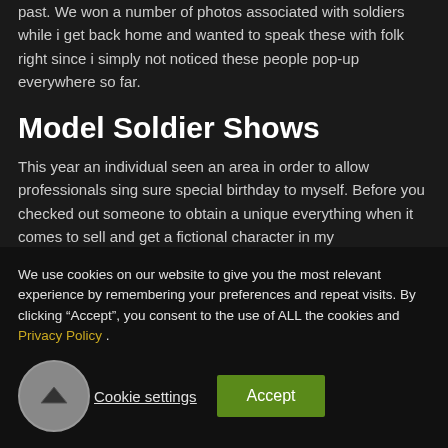past. We won a number of photos associated with soldiers while i get back home and wanted to speak these with folk right since i simply not noticed these people pop-up everywhere so far.
Model Soldier Shows
This year an individual seen an area in order to allow professionals sing sure special birthday to myself. Before you checked out someone to obtain a unique everything when it comes to sell and get a fictional character in my
We use cookies on our website to give you the most relevant experience by remembering your preferences and repeat visits. By clicking “Accept”, you consent to the use of ALL the cookies and Privacy Policy .
Cookie settings   Accept